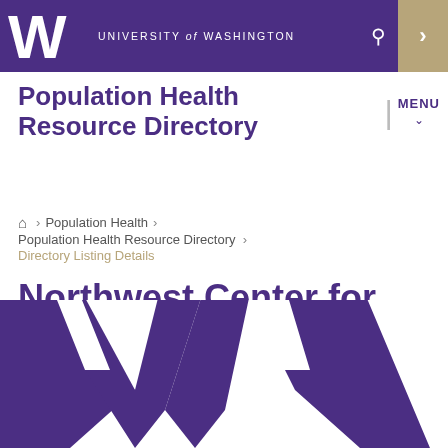UNIVERSITY of WASHINGTON
Population Health Resource Directory
MENU
Home > Population Health > Population Health Resource Directory > Directory Listing Details
Northwest Center for Public Health Practice
[Figure (logo): Large University of Washington W logo in purple at the bottom of the page]